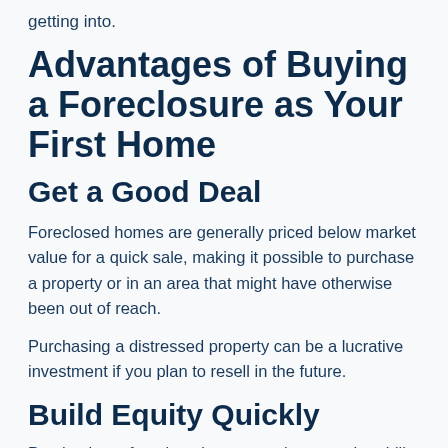getting into.
Advantages of Buying a Foreclosure as Your First Home
Get a Good Deal
Foreclosed homes are generally priced below market value for a quick sale, making it possible to purchase a property or in an area that might have otherwise been out of reach.
Purchasing a distressed property can be a lucrative investment if you plan to resell in the future.
Build Equity Quickly
Purchasing a foreclosed property gives you the ability to